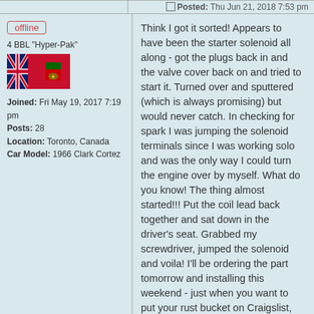Posted: Thu Jun 21, 2018 7:53 pm
offline
4 BBL "Hyper-Pak"
[Figure (illustration): Ontario provincial flag (Red Ensign with Union Jack and Ontario shield)]
Joined: Fri May 19, 2017 7:19 pm
Posts: 28
Location: Toronto, Canada
Car Model: 1966 Clark Cortez
Think I got it sorted! Appears to have been the starter solenoid all along - got the plugs back in and the valve cover back on and tried to start it. Turned over and sputtered (which is always promising) but would never catch. In checking for spark I was jumping the solenoid terminals since I was working solo and was the only way I could turn the engine over by myself. What do you know! The thing almost started!!! Put the coil lead back together and sat down in the driver's seat. Grabbed my screwdriver, jumped the solenoid and voila! I'll be ordering the part tomorrow and installing this weekend - just when you want to put your rust bucket on Craigslist, the magic happens ; )
1966 Clark Cortez Motorhome w/ Industrial Slant 6 looking for...